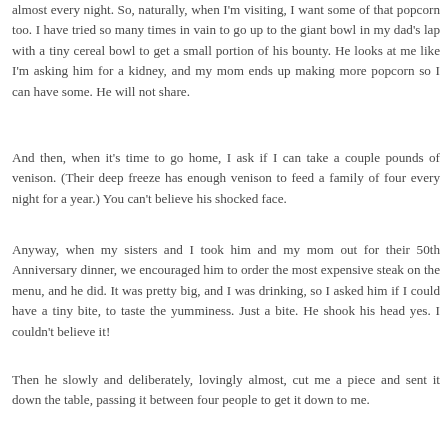almost every night. So, naturally, when I'm visiting, I want some of that popcorn too. I have tried so many times in vain to go up to the giant bowl in my dad's lap with a tiny cereal bowl to get a small portion of his bounty. He looks at me like I'm asking him for a kidney, and my mom ends up making more popcorn so I can have some. He will not share.
And then, when it's time to go home, I ask if I can take a couple pounds of venison. (Their deep freeze has enough venison to feed a family of four every night for a year.) You can't believe his shocked face.
Anyway, when my sisters and I took him and my mom out for their 50th Anniversary dinner, we encouraged him to order the most expensive steak on the menu, and he did. It was pretty big, and I was drinking, so I asked him if I could have a tiny bite, to taste the yumminess. Just a bite. He shook his head yes. I couldn't believe it!
Then he slowly and deliberately, lovingly almost, cut me a piece and sent it down the table, passing it between four people to get it down to me.